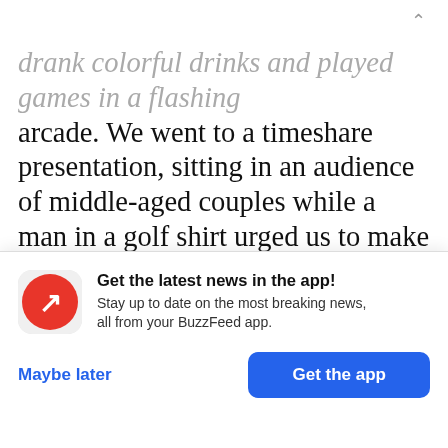drank colorful drinks and played games in a flashing arcade. We went to a timeshare presentation, sitting in an audience of middle-aged couples while a man in a golf shirt urged us to make quality time for our families. He told too-loud jokes and maintained excellent eye contact. We loved it. The normalcy was thrilling; we basked for an hour in the fantasy of suburban coupledom, a life of sales scams and vacation clubs. When the group dispersed to meet
[Figure (other): BuzzFeed app promotion modal. Red circular icon with white upward arrow/trend symbol. Text: 'Get the latest news in the app! Stay up to date on the most breaking news, all from your BuzzFeed app.' Two buttons: 'Maybe later' (blue text) and 'Get the app' (white text on blue rounded button).]